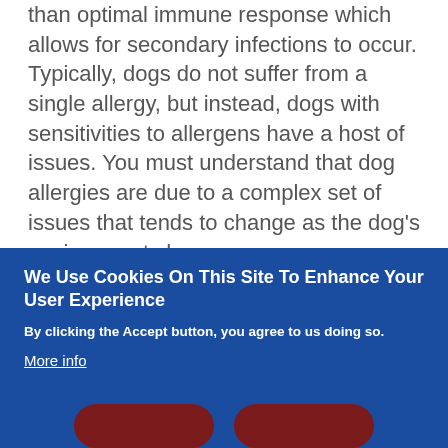than optimal immune response which allows for secondary infections to occur. Typically, dogs do not suffer from a single allergy, but instead, dogs with sensitivities to allergens have a host of issues. You must understand that dog allergies are due to a complex set of issues that tends to change as the dog's environment changes.
Because these symptoms can have several possible causes, we recommend bringing your dog in as soon as possible if you notice
We Use Cookies On This Site To Enhance Your User Experience
By clicking the Accept button, you agree to us doing so.
More info